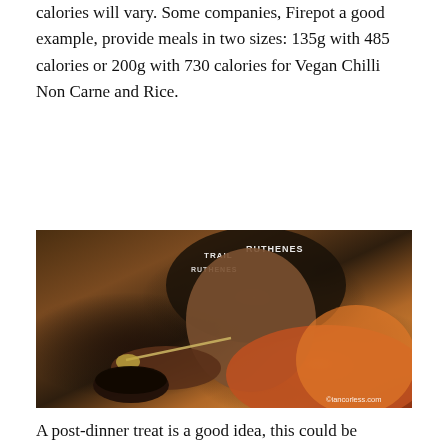calories will vary. Some companies, Firepot a good example, provide meals in two sizes: 135g with 485 calories or 200g with 730 calories for Vegan Chilli Non Carne and Rice.
[Figure (photo): A person wearing a black Trail des Ruthenes bandana/headwear eating from a spoon, dressed in an orange and red jacket, holding a dark bowl. Watermark: ©iancorless.com]
A post-dinner treat is a good idea, this could be another